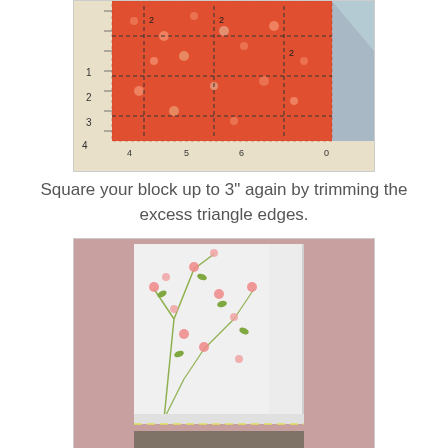[Figure (photo): Photo of orange floral quilt block fabric being measured and squared on a quilting ruler/cutting mat, showing measurement lines for trimming to 3 inches.]
Square your block up to 3" again by trimming the excess triangle edges.
[Figure (photo): Photo of white fabric with pink floral pattern being trimmed or squared, partially overlapping a pink background fabric, with a dashed guide line visible.]